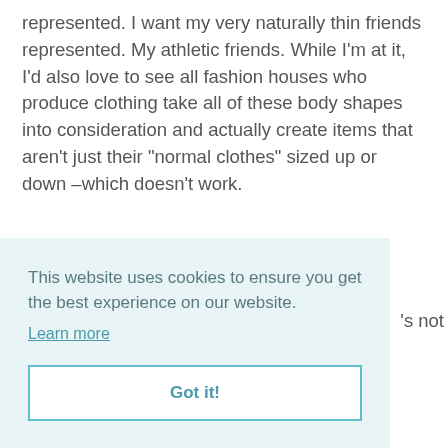represented. I want my very naturally thin friends represented. My athletic friends. While I'm at it, I'd also love to see all fashion houses who produce clothing take all of these body shapes into consideration and actually create items that aren't just their "normal clothes" sized up or down –which doesn't work.
This website uses cookies to ensure you get the best experience on our website. Learn more
's not
Got it!